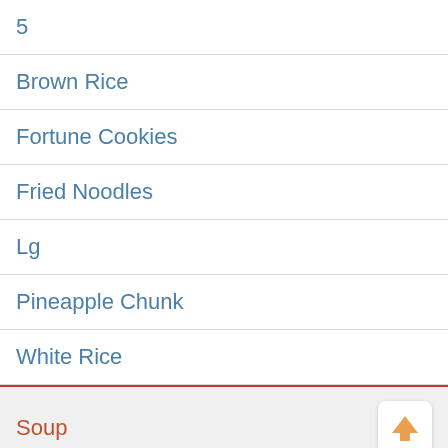5
Brown Rice
Fortune Cookies
Fried Noodles
Lg
Pineapple Chunk
White Rice
Soup
Bean Curd Vegetable Soup
Chicken Egg Drop Soup
Chicken Noodle or Rice Soup